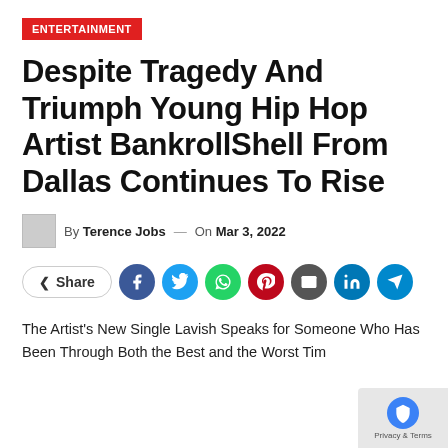ENTERTAINMENT
Despite Tragedy And Triumph Young Hip Hop Artist BankrollShell From Dallas Continues To Rise
By Terence Jobs — On Mar 3, 2022
Share (social media icons: Facebook, Twitter, WhatsApp, Pinterest, Email, LinkedIn, Telegram)
The Artist's New Single Lavish Speaks for Someone Who Has Been Through Both the Best and the Worst Tim...